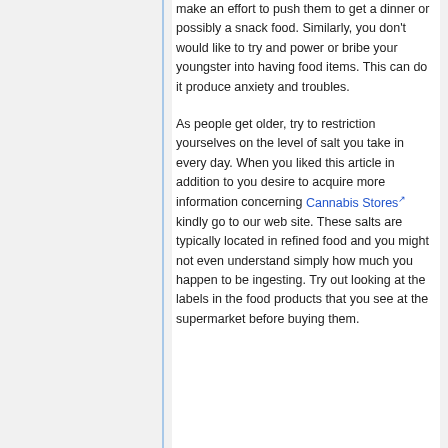make an effort to push them to get a dinner or possibly a snack food. Similarly, you don't would like to try and power or bribe your youngster into having food items. This can do it produce anxiety and troubles.
As people get older, try to restriction yourselves on the level of salt you take in every day. When you liked this article in addition to you desire to acquire more information concerning Cannabis Stores kindly go to our web site. These salts are typically located in refined food and you might not even understand simply how much you happen to be ingesting. Try out looking at the labels in the food products that you see at the supermarket before buying them.